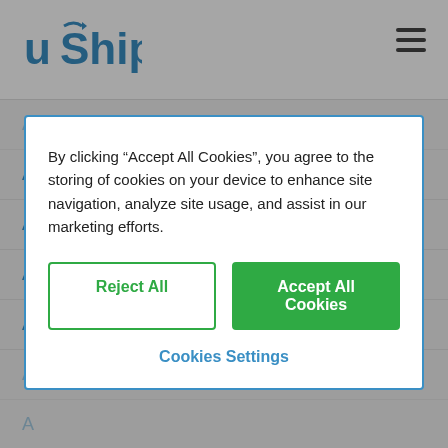uShip logo and hamburger menu
Afghan Hound
Airedale Terrier
Akita
Alaskan Malamute
American English Coonhound
By clicking “Accept All Cookies”, you agree to the storing of cookies on your device to enhance site navigation, analyze site usage, and assist in our marketing efforts.
Reject All
Accept All Cookies
Cookies Settings
Belgian Malinois
Bernese Mountain Dog